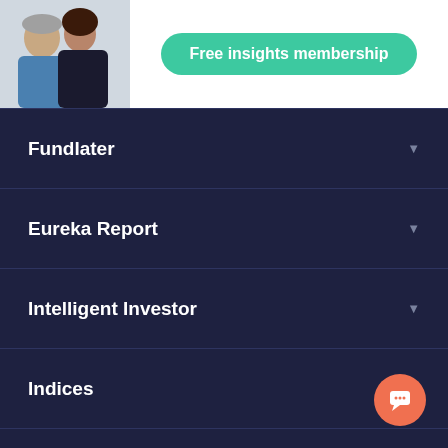[Figure (illustration): White banner with two people (an older man and a younger woman) on the left, and a green rounded button reading 'Free insights membership' on the right]
Fundlater
Eureka Report
Intelligent Investor
Indices
My Account